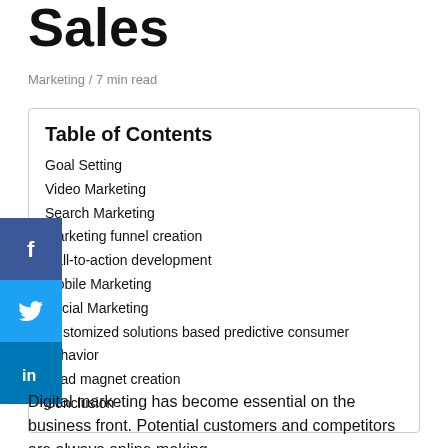Sales
Marketing / 7 min read
Table of Contents
Goal Setting
Video Marketing
Search Marketing
Marketing funnel creation
Call-to-action development
Mobile Marketing
Social Marketing
Customized solutions based predictive consumer behavior
Lead magnet creation
Conclusion
Digital marketing has become essential on the business front. Potential customers and competitors are always online making